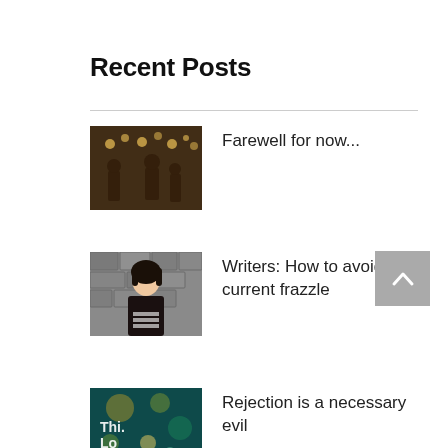Recent Posts
[Figure (photo): Thumbnail photo of a festive indoor gathering with string lights, people socializing]
Farewell for now...
[Figure (photo): Thumbnail photo of a woman with dark hair standing in front of a stone wall, wearing a striped top and dark jacket]
Writers: How to avoid the current frazzle
[Figure (photo): Thumbnail of a book cover with teal/dark design showing partial text 'This Lot']
Rejection is a necessary evil